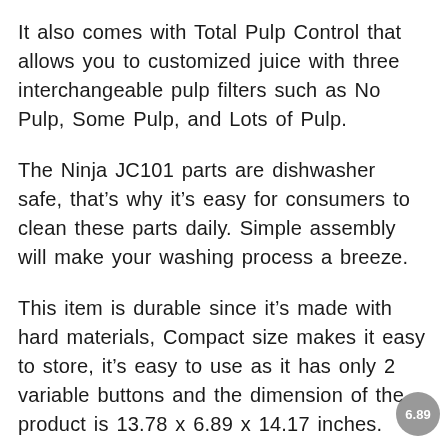It also comes with Total Pulp Control that allows you to customized juice with three interchangeable pulp filters such as No Pulp, Some Pulp, and Lots of Pulp.
The Ninja JC101 parts are dishwasher safe, that's why it's easy for consumers to clean these parts daily. Simple assembly will make your washing process a breeze.
This item is durable since it's made with hard materials, Compact size makes it easy to store, it's easy to use as it has only 2 variable buttons and the dimension of the product is 13.78 x 6.89 x 14.17 inches.